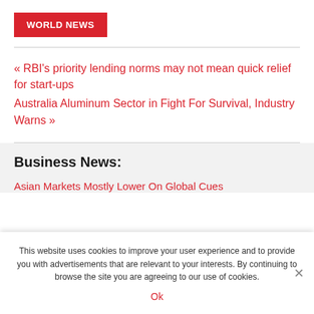WORLD NEWS
« RBI's priority lending norms may not mean quick relief for start-ups
Australia Aluminum Sector in Fight For Survival, Industry Warns »
Business News:
Asian Markets Mostly Lower On Global Cues
This website uses cookies to improve your user experience and to provide you with advertisements that are relevant to your interests. By continuing to browse the site you are agreeing to our use of cookies.
Ok